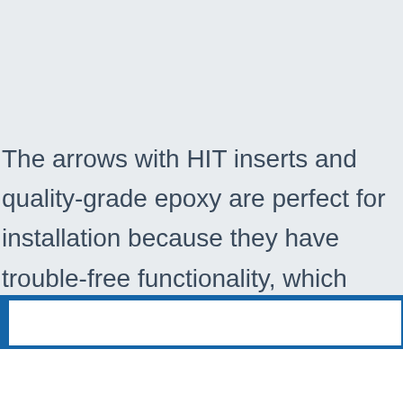The arrows with HIT inserts and quality-grade epoxy are perfect for installation because they have trouble-free functionality, which makes them ideal for targeting precise areas.